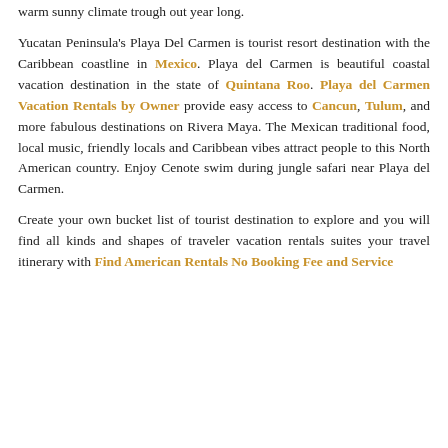warm sunny climate trough out year long.
Yucatan Peninsula's Playa Del Carmen is tourist resort destination with the Caribbean coastline in Mexico. Playa del Carmen is beautiful coastal vacation destination in the state of Quintana Roo. Playa del Carmen Vacation Rentals by Owner provide easy access to Cancun, Tulum, and more fabulous destinations on Rivera Maya. The Mexican traditional food, local music, friendly locals and Caribbean vibes attract people to this North American country. Enjoy Cenote swim during jungle safari near Playa del Carmen.
Create your own bucket list of tourist destination to explore and you will find all kinds and shapes of traveler vacation rentals suites your travel itinerary with Find American Rentals No Booking Fee and Service